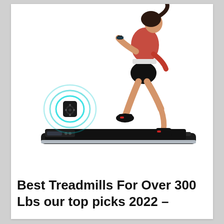[Figure (photo): A woman in athletic wear (red sports bra, black shorts, black sneakers) running on a flat black treadmill/walking pad. To the left of the treadmill is a circular remote control device with teal/cyan concentric signal rings emanating from it. The background is white.]
Best Treadmills For Over 300 Lbs our top picks 2022 –